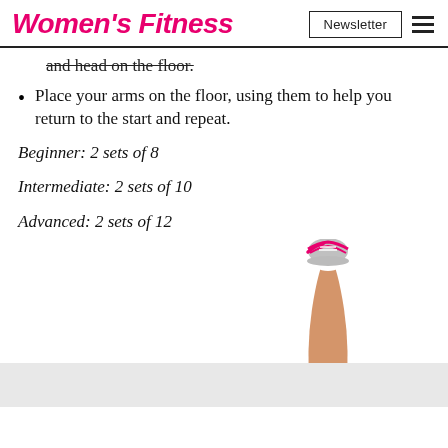Women's Fitness | Newsletter
and head on the floor.
Place your arms on the floor, using them to help you return to the start and repeat.
Beginner: 2 sets of 8
Intermediate: 2 sets of 10
Advanced: 2 sets of 12
[Figure (photo): A woman's leg raised upward wearing a pink sneaker, with a grey advertisement bar at the bottom]